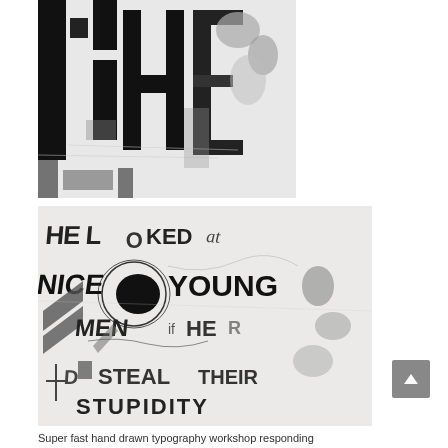[Figure (photo): Black and white close-up photo of large hand-painted typographic letters on a white wall, showing partial letters in thick black paint]
[Figure (photo): Black and white photo of hand-drawn experimental typography on a white surface reading 'HE LOOKED AT NICE YOUNG MEN IF HE COULD STEAL THEIR STUPIDITY']
Super fast hand drawn typography workshop responding